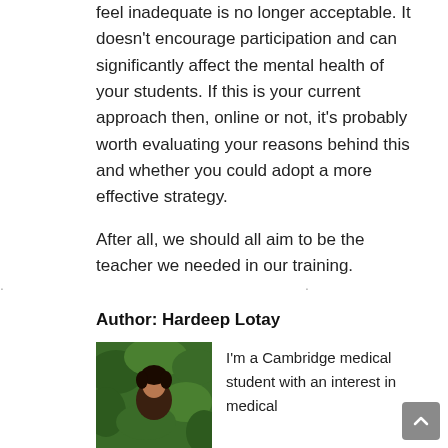feel inadequate is no longer acceptable. It doesn't encourage participation and can significantly affect the mental health of your students. If this is your current approach then, online or not, it's probably worth evaluating your reasons behind this and whether you could adopt a more effective strategy.
After all, we should all aim to be the teacher we needed in our training.
· · ·
Author: Hardeep Lotay
[Figure (photo): Portrait photo of Hardeep Lotay, showing a person outdoors with green foliage in the background]
I'm a Cambridge medical student with an interest in medical